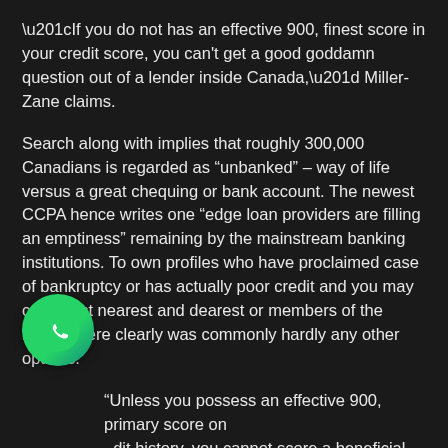“If you do not has an effective 900, finest score in your credit score, you can’t get a good goddamn question out of a lender inside Canada,” Miller-Zane claims.
Search along with implies that roughly 300,000 Canadians is regarded as “unbanked” – way of life versus a great chequing or bank account. The newest CCPA hence writes one “edge loan providers are filling an emptiness” remaining by the mainstream banking institutions. To own profiles who have proclaimed case of bankruptcy or has actually poor credit and you may can’t trust nearest and dearest or members of the family, there clearly was commonly hardly any other options.
“Unless you possess an effective 900, primary score on credit history, you cannot score a beneficial goddamn way from a lender within the Canada,” Miller-Zane says. She recently made an effort to rating an equilibrium transfer on to less focus credit line compliment of CIRC
[Figure (logo): WhatsApp logo icon — green circle with white phone/chat handset symbol]